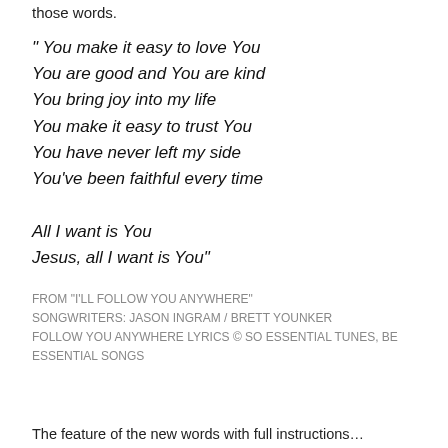say the words, I want to understand and stand behind those words.
" You make it easy to love You
You are good and You are kind
You bring joy into my life
You make it easy to trust You
You have never left my side
You've been faithful every time

All I want is You
Jesus, all I want is You"
FROM "I'LL FOLLOW YOU ANYWHERE"
SONGWRITERS: JASON INGRAM / BRETT YOUNKER
FOLLOW YOU ANYWHERE LYRICS © SO ESSENTIAL TUNES, BE ESSENTIAL SONGS
The feature of the new words with full instructions…